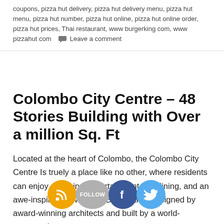coupons, pizza hut delivery, pizza hut delivery menu, pizza hut menu, pizza hut number, pizza hut online, pizza hut online order, pizza hut prices, Thai restaurant, www burgerking com, www pizzahut com   Leave a comment
Colombo City Centre – 48 Stories Building with Over a million Sq. Ft
Located at the heart of Colombo, the Colombo City Centre Is truely a place like no other, where residents can enjoy shopping, entertainment fine dining, and an awe-inspiring view of the Beira Lake. Designed by award-winning architects and built by a world-renowned construction company, CCC offers you the stylish, luxurious home of your dreams with everything you need under one roof.